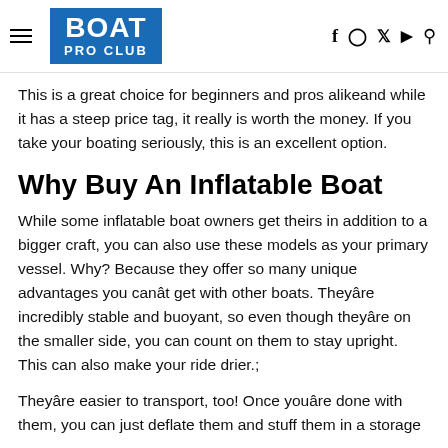BOAT PRO CLUB
This is a great choice for beginners and pros alikeand while it has a steep price tag, it really is worth the money. If you take your boating seriously, this is an excellent option.
Why Buy An Inflatable Boat
While some inflatable boat owners get theirs in addition to a bigger craft, you can also use these models as your primary vessel. Why? Because they offer so many unique advantages you canât get with other boats. Theyâre incredibly stable and buoyant, so even though theyâre on the smaller side, you can count on them to stay upright. This can also make your ride drier.;
Theyâre easier to transport, too! Once youâre done with them, you can just deflate them and stuff them in a storage